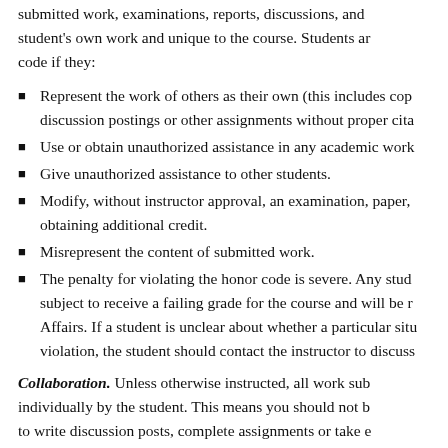submitted work, examinations, reports, discussions, and student's own work and unique to the course. Students are in violation of the code if they:
Represent the work of others as their own (this includes copying discussion postings or other assignments without proper citation)
Use or obtain unauthorized assistance in any academic work
Give unauthorized assistance to other students.
Modify, without instructor approval, an examination, paper, or other work for obtaining additional credit.
Misrepresent the content of submitted work.
The penalty for violating the honor code is severe. Any student found in violation is subject to receive a failing grade for the course and will be referred to Student Affairs. If a student is unclear about whether a particular situation may be a violation, the student should contact the instructor to discuss.
Collaboration. Unless otherwise instructed, all work submitted must be done individually by the student. This means you should not be working with others to write discussion posts, complete assignments or take exams.